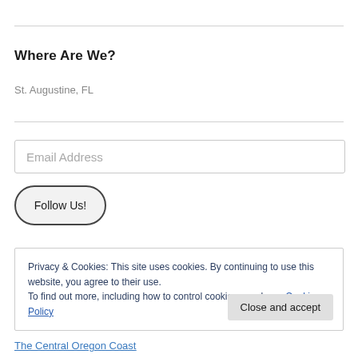Where Are We?
St. Augustine, FL
Email Address
Follow Us!
Privacy & Cookies: This site uses cookies. By continuing to use this website, you agree to their use.
To find out more, including how to control cookies, see here: Cookie Policy
Close and accept
The Central Oregon Coast